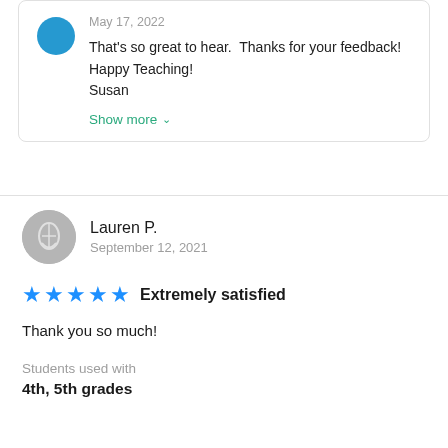May 17, 2022
That's so great to hear.  Thanks for your feedback!  Happy Teaching!
Susan
Show more
Lauren P.
September 12, 2021
★★★★★ Extremely satisfied
Thank you so much!
Students used with
4th, 5th grades